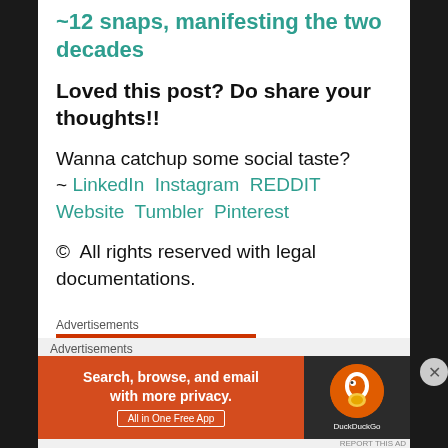~12 snaps, manifesting the two decades
Loved this post? Do share your thoughts!!
Wanna catchup some social taste? ~ LinkedIn Instagram REDDIT Website Tumblr Pinterest
© All rights reserved with legal documentations.
Advertisements
Advertisements
[Figure (screenshot): DuckDuckGo advertisement banner: 'Search, browse, and email with more privacy. All in One Free App' with DuckDuckGo logo on dark background]